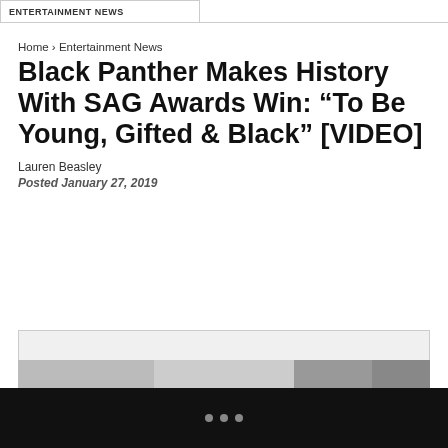ENTERTAINMENT NEWS
Home › Entertainment News
Black Panther Makes History With SAG Awards Win: “To Be Young, Gifted & Black” [VIDEO]
Lauren Beasley
Posted January 27, 2019
[Figure (screenshot): HotSpot ATL Featured Video box with light grey background]
[Figure (screenshot): Bottom image strip with partial images visible]
• • •